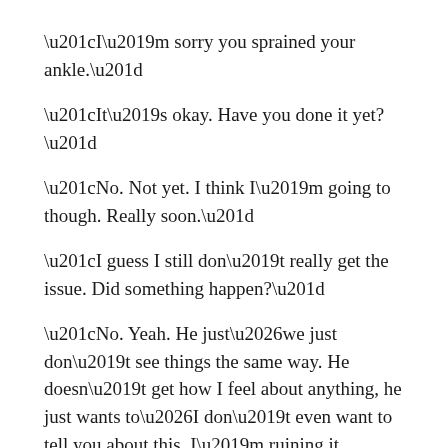“I’m sorry you sprained your ankle.”
“It’s okay. Have you done it yet?”
“No. Not yet. I think I’m going to though. Really soon.”
“I guess I still don’t really get the issue. Did something happen?”
“No. Yeah. He just…we just don’t see things the same way. He doesn’t get how I feel about anything, he just wants to…I don’t even want to tell you about this. I’m ruining it, I’m making things up and telling you some story about why it doesn’t work but it doesn’t matter. It doesn’t matter why it doesn’t work, it just doesn’t work.”